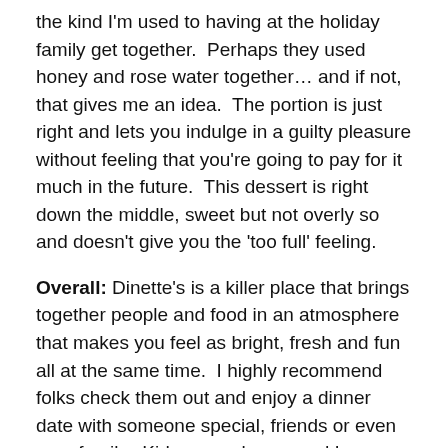the kind I'm used to having at the holiday family get together.  Perhaps they used honey and rose water together… and if not, that gives me an idea.  The portion is just right and lets you indulge in a guilty pleasure without feeling that you're going to pay for it much in the future.  This dessert is right down the middle, sweet but not overly so and doesn't give you the 'too full' feeling.
Overall: Dinette's is a killer place that brings together people and food in an atmosphere that makes you feel as bright, fresh and fun all at the same time.  I highly recommend folks check them out and enjoy a dinner date with someone special, friends or even your family.  Kids are welcome and I was pleased to see them treats as the little adults they truly are. (more on that in a future post I'm sure)  So if you're in the mood for a new and refreshing take on the 'pizza and beer' scene, get over to Dinette (no